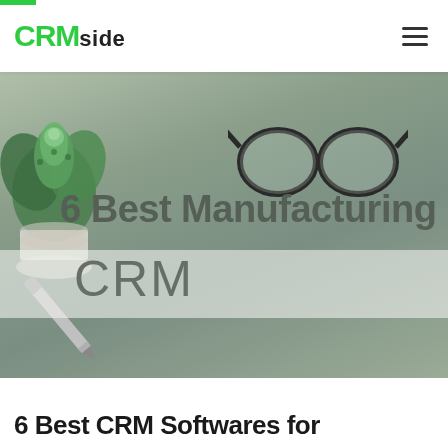CRMside
[Figure (photo): Hero banner photo showing a desk scene with a succulent plant, eyeglasses, and a pen on a light gray surface. Overlaid text reads '6 Best Manufacturing CRM'.]
6 Best CRM Softwares for